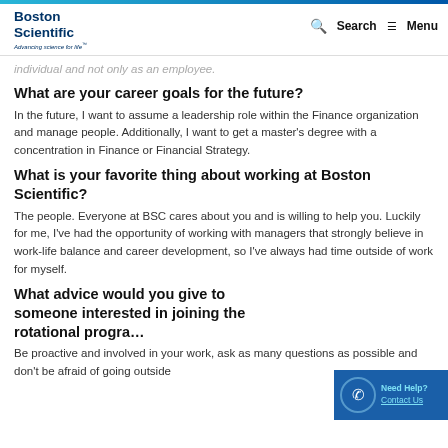Boston Scientific — Advancing science for life™ | Search | Menu
individual and not only as an employee.
What are your career goals for the future?
In the future, I want to assume a leadership role within the Finance organization and manage people. Additionally, I want to get a master's degree with a concentration in Finance or Financial Strategy.
What is your favorite thing about working at Boston Scientific?
The people. Everyone at BSC cares about you and is willing to help you. Luckily for me, I've had the opportunity of working with managers that strongly believe in work-life balance and career development, so I've always had time outside of work for myself.
What advice would you give to someone interested in joining the rotational progra…
Be proactive and involved in your work, ask as many questions as possible and don't be afraid of going outside…